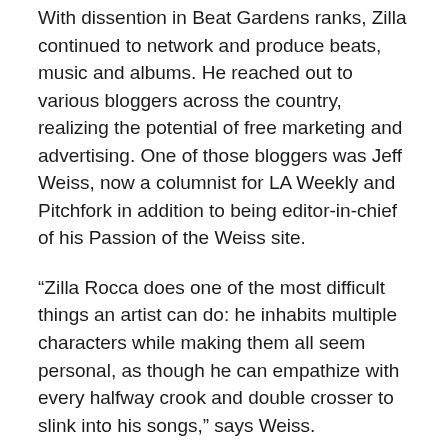With dissention in Beat Gardens ranks, Zilla continued to network and produce beats, music and albums. He reached out to various bloggers across the country, realizing the potential of free marketing and advertising. One of those bloggers was Jeff Weiss, now a columnist for LA Weekly and Pitchfork in addition to being editor-in-chief of his Passion of the Weiss site.
“Zilla Rocca does one of the most difficult things an artist can do: he inhabits multiple characters while making them all seem personal, as though he can empathize with every halfway crook and double crosser to slink into his songs,” says Weiss.
Weiss linked Zilla with Douglas Martin (aka Blurry Drones), who also wrote for Weiss’ site. Martin’s weird, experimental beats took Zilla back to his Crooked Soul days, making music that may not have made sense to